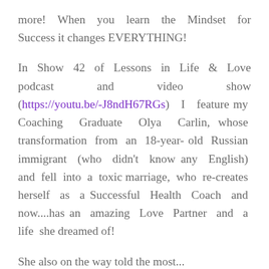more! When you learn the Mindset for Success it changes EVERYTHING!
In Show 42 of Lessons in Life & Love podcast and video show (https://youtu.be/-J8ndH67RGs) I feature my Coaching Graduate Olya Carlin, whose transformation from an 18-year-old Russian immigrant (who didn't know any English) and fell into a toxic marriage, who re-creates herself as a Successful Health Coach and now....has an amazing Love Partner and a life she dreamed of!
She also on the way told the most...